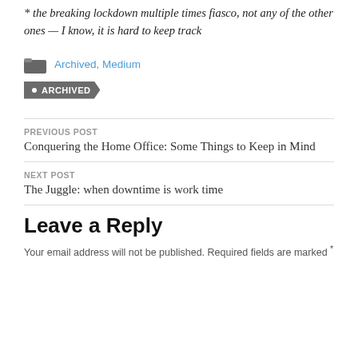* the breaking lockdown multiple times fiasco, not any of the other ones — I know, it is hard to keep track
Archived, Medium
ARCHIVED
PREVIOUS POST
Conquering the Home Office: Some Things to Keep in Mind
NEXT POST
The Juggle: when downtime is work time
Leave a Reply
Your email address will not be published. Required fields are marked *